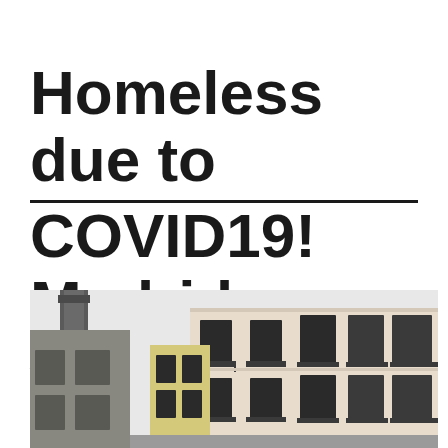Homeless due to COVID19! Madrid week nine
[Figure (photo): Street-level photograph of European-style residential apartment buildings in Madrid with balconies, dark window frames, ornate facades in cream and yellow tones, and a tall industrial chimney or tower on the left side.]